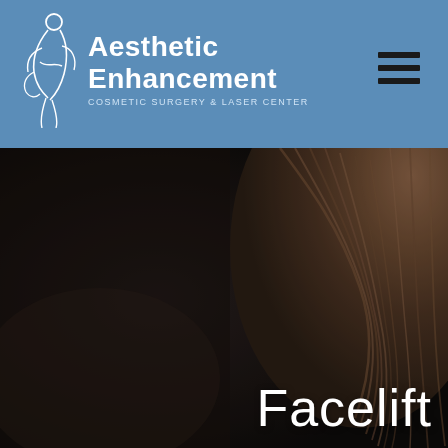[Figure (logo): Aesthetic Enhancement Cosmetic Surgery & Laser Center logo with stylized figure in white on blue background]
[Figure (photo): Close-up dark photo of a woman's hair and side profile, hero image for Facelift page]
Facelift